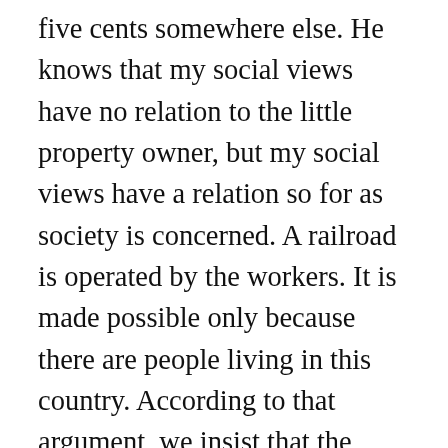five cents somewhere else. He knows that my social views have no relation to the little property owner, but my social views have a relation so for as society is concerned. A railroad is operated by the workers. It is made possible only because there are people living in this country. According to that argument, we insist that the railroad should belong to the people of this country and not to the railroad owners, who are mere coupon-